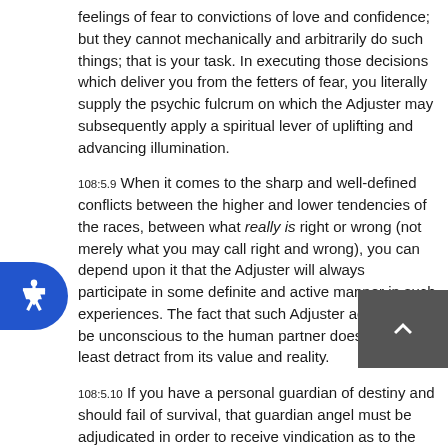feelings of fear to convictions of love and confidence; but they cannot mechanically and arbitrarily do such things; that is your task. In executing those decisions which deliver you from the fetters of fear, you literally supply the psychic fulcrum on which the Adjuster may subsequently apply a spiritual lever of uplifting and advancing illumination.
108:5.9 When it comes to the sharp and well-defined conflicts between the higher and lower tendencies of the races, between what really is right or wrong (not merely what you may call right and wrong), you can depend upon it that the Adjuster will always participate in some definite and active manner in such experiences. The fact that such Adjuster activity may be unconscious to the human partner does not in the least detract from its value and reality.
108:5.10 If you have a personal guardian of destiny and should fail of survival, that guardian angel must be adjudicated in order to receive vindication as to the faithful execution of her trust. But Thought Adjusters are not thus subjected to examination when their subjects fail to survive. We all know while an angel might possibly fall short of the perfection ministry, Thought Adjusters work in the manner of Paradise perfection; their ministry is characterized by a flawless technique which is beyond the possibility of criticism by any being outside of Divinington. You have perfect guides;